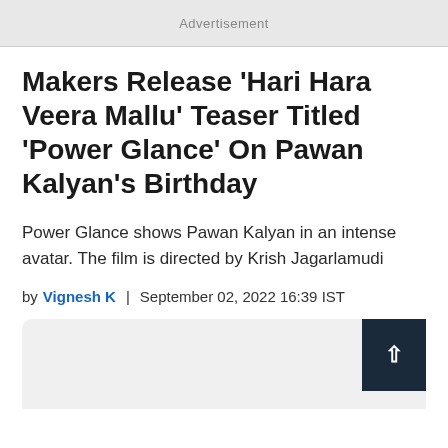Advertisement
Makers Release 'Hari Hara Veera Mallu' Teaser Titled 'Power Glance' On Pawan Kalyan's Birthday
Power Glance shows Pawan Kalyan in an intense avatar. The film is directed by Krish Jagarlamudi
by Vignesh K | September 02, 2022 16:39 IST
[Figure (other): Article image placeholder with scroll-to-top button]